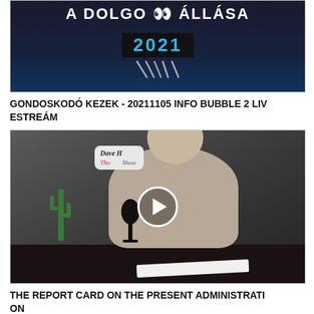[Figure (screenshot): Dark themed thumbnail image with large bold white text 'A DOLGO ALLASA' and blue year '2021' centered on black background]
GONDOSKODÓ KEZEK - 20211105 INFO BUBBLE 2 LIVESTREAM
[Figure (screenshot): Video thumbnail showing a man (Dave H.) at a studio desk with a microphone, cactus plant, and show branding. Play button overlay in center.]
THE REPORT CARD ON THE PRESENT ADMINISTRATION